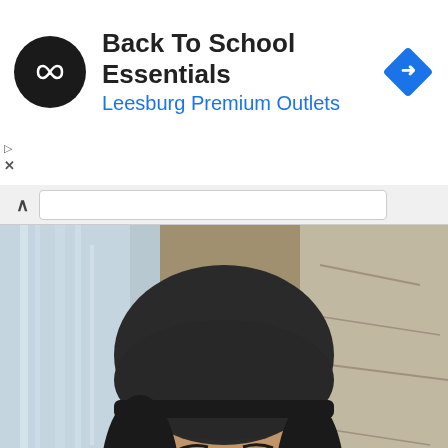[Figure (screenshot): Top ad banner: Back To School Essentials at Leesburg Premium Outlets with infinity loop logo and blue navigation arrow icon]
[Figure (photo): Photo of a young man with a dark beanie cap and dark hair in front of a waterfall and stone wall background]
nette Padilla, brother of Robin Padilla, dies at 50
[Figure (screenshot): Rislone radiator cleaner advertisement: CLEAN SYSTEMS RUN COOLER - The highest-performing radiator cleaning product you can buy. Click Here To Learn More.]